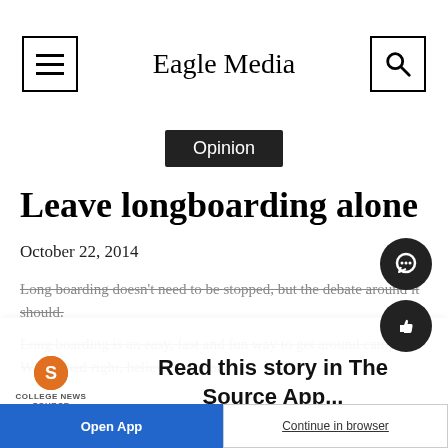Eagle Media
Opinion
Leave longboarding alone
October 22, 2014
Long boarding doesn't need to be stopped, but the debate around it should.
Long boarding is an easy, fast and fun way to get around campus. When used right, believe it or not
[Figure (screenshot): App download prompt overlay: 'Read this story in The Source App...' with College News Source logo, Open App button, and Continue in browser button]